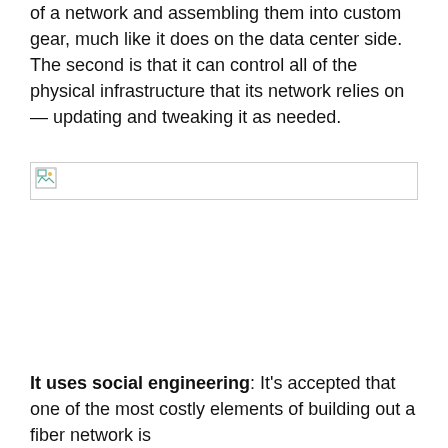of a network and assembling them into custom gear, much like it does on the data center side. The second is that it can control all of the physical infrastructure that its network relies on — updating and tweaking it as needed.
[Figure (photo): Broken/missing image placeholder with small broken-image icon in top-left corner, bordered rectangle]
It uses social engineering: It's accepted that one of the most costly elements of building out a fiber network is